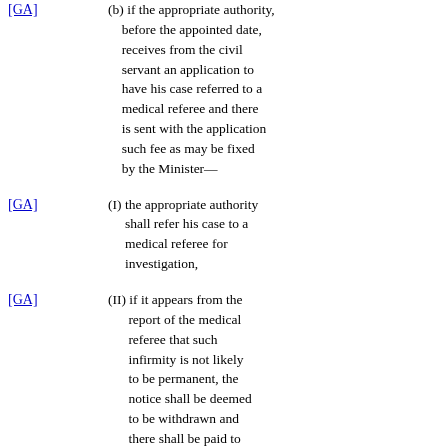before the appointed date, receives from the civil servant an application to have his case referred to a medical referee and there is sent with the application such fee as may be fixed by the Minister—
[GA] (I) the appropriate authority shall refer his case to a medical referee for investigation,
[GA] (II) if it appears from the report of the medical referee that such infirmity is not likely to be permanent, the notice shall be deemed to be withdrawn and there shall be paid to the civil servant a sum equal to the said fee and also, if any,